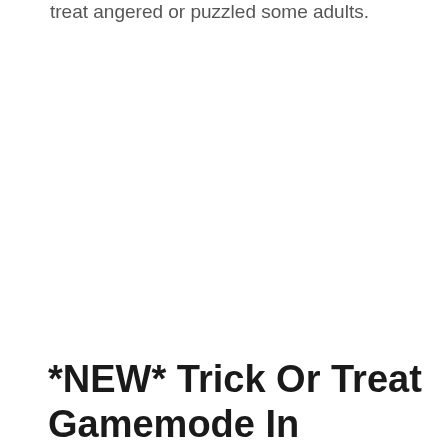treat angered or puzzled some adults.
*NEW* Trick Or Treat Gamemode In